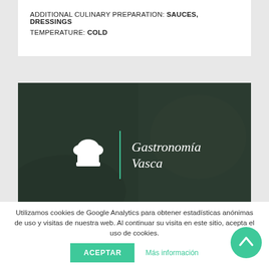ADDITIONAL CULINARY PREPARATION: SAUCES, DRESSINGS
TEMPERATURE: COLD
[Figure (photo): Dark-toned banner image showing a chef's hands, overlaid with white chef hat logo, green vertical divider, and italic text 'Gastronomía Vasca']
RECIPES  |  GLOSSARY
Utilizamos cookies de Google Analytics para obtener estadísticas anónimas de uso y visitas de nuestra web. Al continuar su visita en este sitio, acepta el uso de cookies.
ACEPTAR    Más información